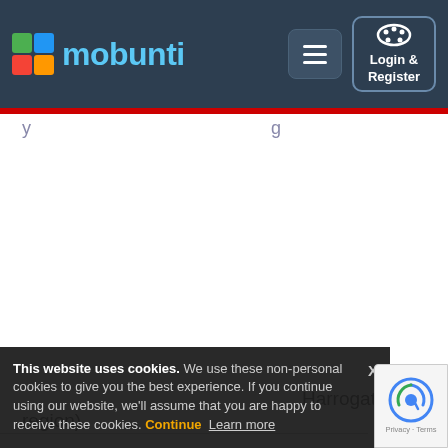mobunti — Login & Register
message offering your services under the legitimate interest rules of GDPR (assuming you are marketing to companies who you feel have a potential interest in your services, either geographically or by category).
Harrogate is made up of the following towns and villages
This website uses cookies. We use these non-personal cookies to give you the best experience. If you continue using our website, we'll assume that you are happy to receive these cookies. Continue  Learn more
Harrogate region)